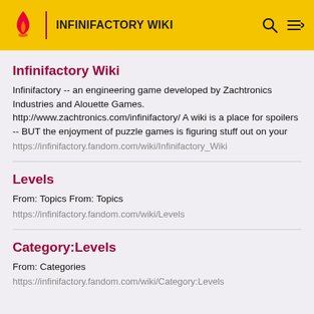INFINIFACTORY WIKI
Infinifactory Wiki
Infinifactory -- an engineering game developed by Zachtronics Industries and Alouette Games. http://www.zachtronics.com/infinifactory/ A wiki is a place for spoilers -- BUT the enjoyment of puzzle games is figuring stuff out on your
https://infinifactory.fandom.com/wiki/Infinifactory_Wiki
Levels
From: Topics From: Topics
https://infinifactory.fandom.com/wiki/Levels
Category:Levels
From: Categories
https://infinifactory.fandom.com/wiki/Category:Levels